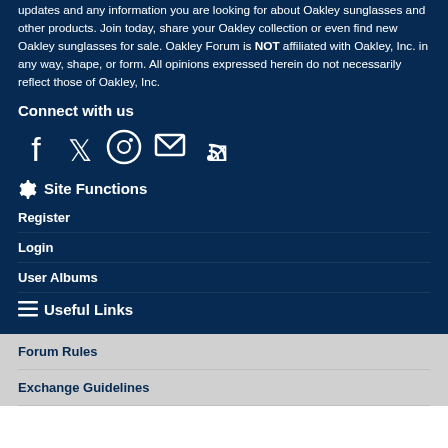updates and any information you are looking for about Oakley sunglasses and other products. Join today, share your Oakley collection or even find new Oakley sunglasses for sale. Oakley Forum is NOT affiliated with Oakley, Inc. in any way, shape, or form. All opinions expressed herein do not necessarily reflect those of Oakley, Inc.
Connect with us
[Figure (infographic): Social media icons: Facebook, Twitter, Instagram, Email, RSS feed]
Site Functions
Register
Login
User Albums
Useful Links
Forum Rules
Exchange Guidelines